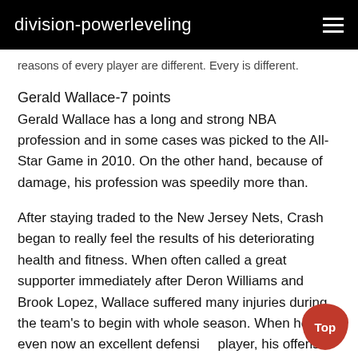division-powerleveling
reasons of every player are different. Every is different.
Gerald Wallace-7 points
Gerald Wallace has a long and strong NBA profession and in some cases was picked to the All-Star Game in 2010. On the other hand, because of damage, his profession was speedily more than.
After staying traded to the New Jersey Nets, Crash began to really feel the results of his deteriorating health and fitness. When often called a great supporter immediately after Deron Williams and Brook Lopez, Wallace suffered many injuries during the team's to begin with whole season. When he was even now an excellent defensive player, his offense disappeared, averaging only 7.7 points